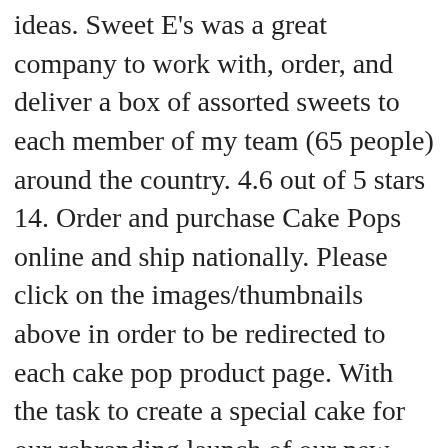ideas. Sweet E's was a great company to work with, order, and deliver a box of assorted sweets to each member of my team (65 people) around the country. 4.6 out of 5 stars 14. Order and purchase Cake Pops online and ship nationally. Please click on the images/thumbnails above in order to be redirected to each cake pop product page. With the task to create a special cake for our rebranding launch of our new logo and site with a four day deadline. Every morning, we're preparing fresh fillings, whipped buttercream, and fluffy mousse. At this time, we not accepting walk-in guests. This mixture is then rolled into balls and set in the refrigerator before being submerged in different colored candy melts.You can use any flavored cake ... Find everything you need for birthday and wedding cake pops! $10.99 $ 10. Cake truffles. The pops are made out of one prepared box of cake mix combined with some store-bought frosting. We are bakers with a passion for photography and other artistic hobbies. A Halloween unicorn witch birthday cake for the unicorn lover in all of us! The Best Cake Pops For Your Halloween Party! With a special charm, The...